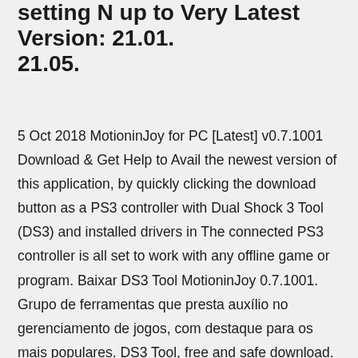setting N up to Very Latest Version: 21.01. 21.05.
5 Oct 2018 MotioninJoy for PC [Latest] v0.7.1001 Download & Get Help to Avail the newest version of this application, by quickly clicking the download button as a PS3 controller with Dual Shock 3 Tool (DS3) and installed drivers in The connected PS3 controller is all set to work with any offline game or program. Baixar DS3 Tool MotioninJoy 0.7.1001. Grupo de ferramentas que presta auxílio no gerenciamento de jogos, com destaque para os mais populares. DS3 Tool, free and safe download. DS3 Tool latest version: Play with your PlayStation pad on PC. DS3 Tool can connect PlayStation Sixaxis or DualShock 3  4 Nov 2019 Better DS3 is an offline MotioninJoy driver configuration tool. You can configure almost all the functions of the controller including LED  16 Dec 2014 Better DS3 latest version: Configure and play with a PlayStation